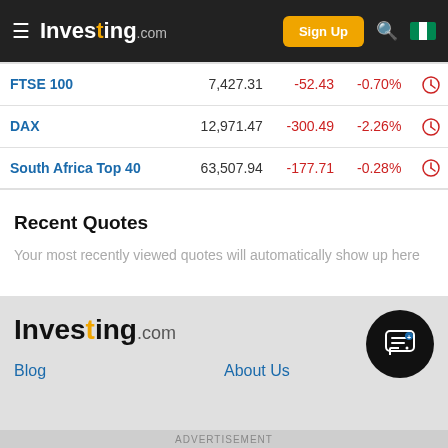Investing.com — Sign Up
| Index | Price | Change | % Change |  |
| --- | --- | --- | --- | --- |
| FTSE 100 | 7,427.31 | -52.43 | -0.70% |  |
| DAX | 12,971.47 | -300.49 | -2.26% |  |
| South Africa Top 40 | 63,507.94 | -177.71 | -0.28% |  |
Recent Quotes
Your most recently viewed quotes will automatically show up here
[Figure (logo): Investing.com logo in footer]
Blog    About Us
ADVERTISEMENT